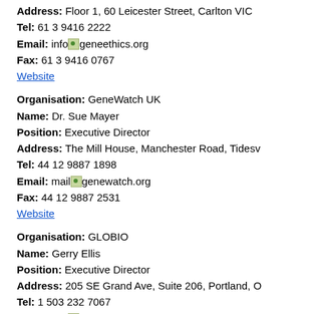Address: Floor 1, 60 Leicester Street, Carlton VIC
Tel: 61 3 9416 2222
Email: info@geneethics.org
Fax: 61 3 9416 0767
Website
Organisation: GeneWatch UK
Name: Dr. Sue Mayer
Position: Executive Director
Address: The Mill House, Manchester Road, Tidesw
Tel: 44 12 9887 1898
Email: mail@genewatch.org
Fax: 44 12 9887 2531
Website
Organisation: GLOBIO
Name: Gerry Ellis
Position: Executive Director
Address: 205 SE Grand Ave, Suite 206, Portland, O
Tel: 1 503 232 7067
Email: info@globio.org
Fax: 1 503 232 7245
Website
Organisation: Greenpeace Hungary